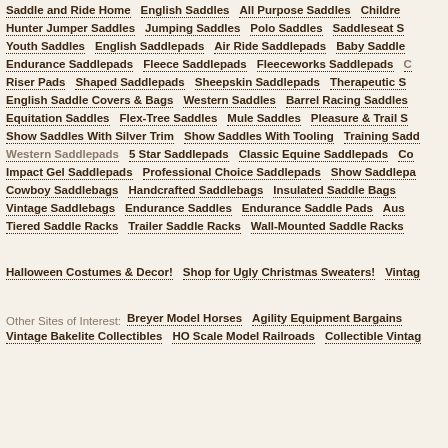Saddle and Ride Home
English Saddles
All Purpose Saddles
Children
Hunter Jumper Saddles
Jumping Saddles
Polo Saddles
Saddleseat S
Youth Saddles
English Saddlepads
Air Ride Saddlepads
Baby Saddle
Endurance Saddlepads
Fleece Saddlepads
Fleeceworks Saddlepads
Riser Pads
Shaped Saddlepads
Sheepskin Saddlepads
Therapeutic S
English Saddle Covers & Bags
Western Saddles
Barrel Racing Saddles
Equitation Saddles
Flex-Tree Saddles
Mule Saddles
Pleasure & Trail S
Show Saddles With Silver Trim
Show Saddles With Tooling
Training Sadd
Western Saddlepads
5 Star Saddlepads
Classic Equine Saddlepads
Co
Impact Gel Saddlepads
Professional Choice Saddlepads
Show Saddlepa
Cowboy Saddlebags
Handcrafted Saddlebags
Insulated Saddle Bags
Vintage Saddlebags
Endurance Saddles
Endurance Saddle Pads
Aus
Tiered Saddle Racks
Trailer Saddle Racks
Wall-Mounted Saddle Racks
Halloween Costumes & Decor!
Shop for Ugly Christmas Sweaters!
Vintag
Other Sites of Interest:
Breyer Model Horses
Agility Equipment Bargains
Vintage Bakelite Collectibles
HO Scale Model Railroads
Collectible Vintag